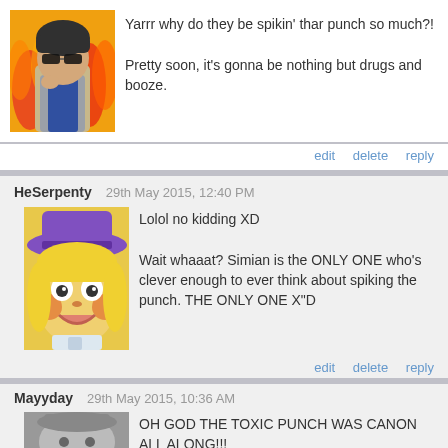Yarrr why do they be spikin' thar punch so much?!

Pretty soon, it's gonna be nothing but drugs and booze.
edit   delete   reply
HeSerpenty   29th May 2015, 12:40 PM
Lolol no kidding XD

Wait whaaat? Simian is the ONLY ONE who's clever enough to ever think about spiking the punch. THE ONLY ONE X"D
edit   delete   reply
Mayyday   29th May 2015, 10:36 AM
OH GOD THE TOXIC PUNCH WAS CANON ALL ALONG!!!